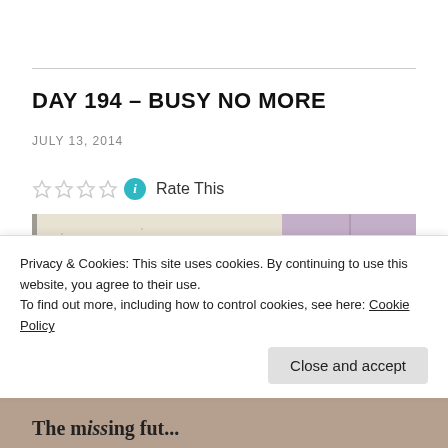DAY 194 – BUSY NO MORE
JULY 13, 2014
Rate This
[Figure (photo): A photo showing a textured wall or surface with the text 'Four things you can't recover:' overlaid at the bottom]
Privacy & Cookies: This site uses cookies. By continuing to use this website, you agree to their use.
To find out more, including how to control cookies, see here: Cookie Policy
Close and accept